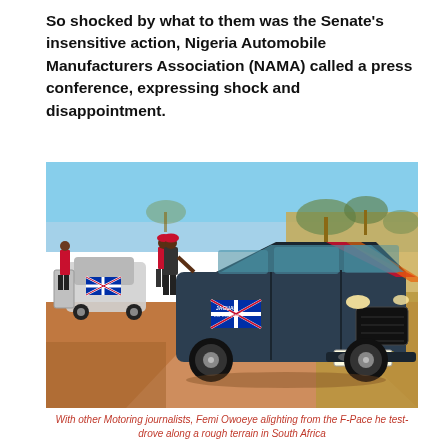So shocked by what to them was the Senate's insensitive action, Nigeria Automobile Manufacturers Association (NAMA) called a press conference, expressing shock and disappointment.
[Figure (photo): A Jaguar F-Pace SUV with a 'Jaguar Experience' Union Jack door decal and license plate FH 37 KJ GP on a dirt road in South Africa, with people standing around other cars in the background.]
With other Motoring journalists, Femi Owoeye alighting from the F-Pace he test-drove along a rough terrain in South Africa